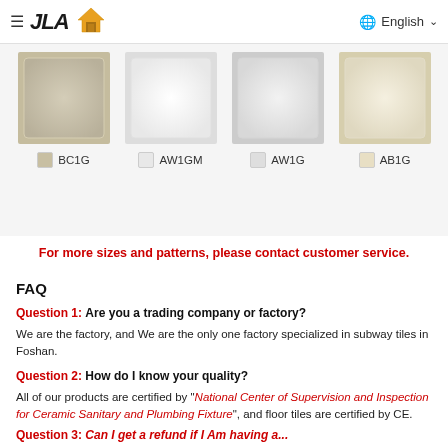≡ JLA [house icon]  🌐 English ∨
[Figure (photo): Four ceramic tile swatches: BC1G (beige/tan), AW1GM (bright white), AW1G (light grey-white), AB1G (cream/ivory), each shown as a square beveled tile above its color code label]
For more sizes and patterns, please contact customer service.
FAQ
Question 1: Are you a trading company or factory?
We are the factory, and We are the only one factory specialized in subway tiles in Foshan.
Question 2: How do I know your quality?
All of our products are certified by "National Center of Supervision and Inspection for Ceramic Sanitary and Plumbing Fixture", and floor tiles are certified by CE.
Question 3: Can I get a refund if I Am having a...